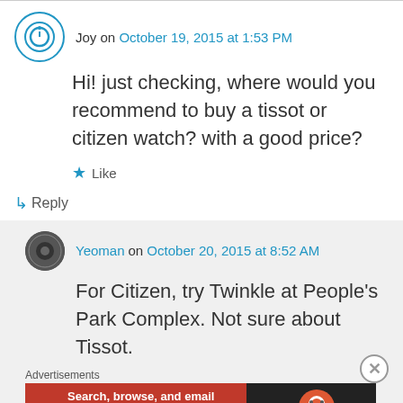Joy on October 19, 2015 at 1:53 PM
Hi! just checking, where would you recommend to buy a tissot or citizen watch? with a good price?
Like
↳ Reply
Yeoman on October 20, 2015 at 8:52 AM
For Citizen, try Twinkle at People's Park Complex. Not sure about Tissot.
Advertisements
[Figure (other): DuckDuckGo advertisement banner: Search, browse, and email with more privacy. All in One Free App. DuckDuckGo logo on dark background.]